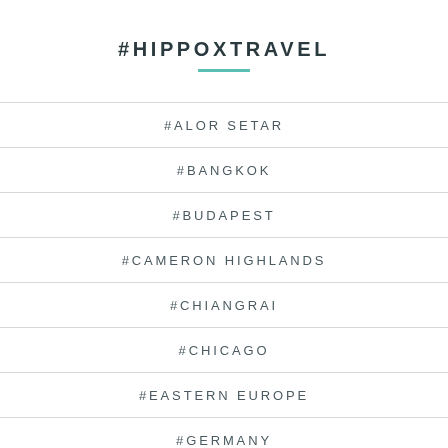#HIPPOXTRAVEL
#ALOR SETAR
#BANGKOK
#BUDAPEST
#CAMERON HIGHLANDS
#CHIANGRAI
#CHICAGO
#EASTERN EUROPE
#GERMANY